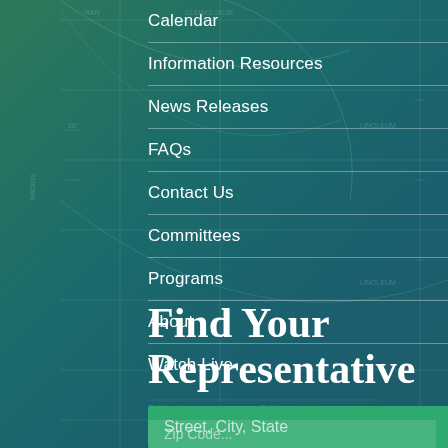Calendar
Information Resources
News Releases
FAQs
Contact Us
Committees
Programs
About
Watch Live
Find Your Representative
Street, City, State